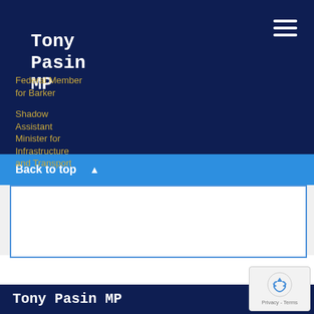Tony Pasin MP
Federal Member for Barker
Shadow Assistant Minister for Infrastructure and Transport
Back to top ▲
[Figure (screenshot): Partial webpage screenshot showing a content box with blue border and a gold-outlined inner bar]
[Figure (logo): Google reCAPTCHA badge with recycling arrow icon and Privacy - Terms text]
Tony Pasin MP